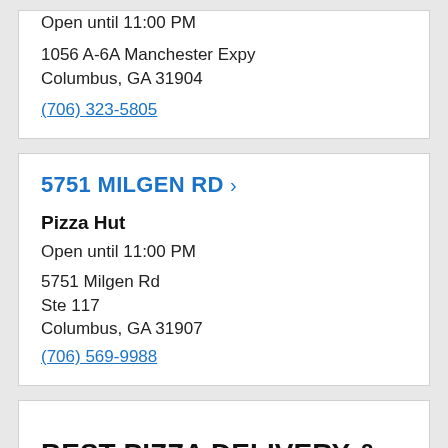Open until 11:00 PM
1056 A-6A Manchester Expy
Columbus, GA 31904
(706) 323-5805
5751 MILGEN RD
Pizza Hut
Open until 11:00 PM
5751 Milgen Rd
Ste 117
Columbus, GA 31907
(706) 569-9988
BEST PIZZA DELIVERY &